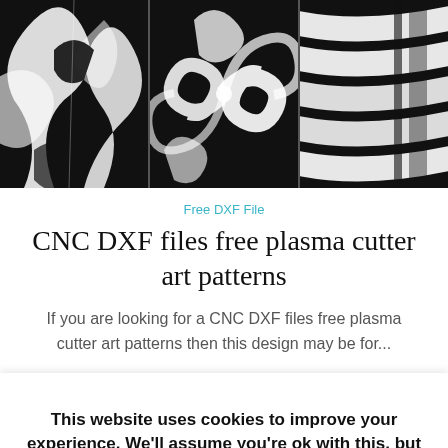[Figure (illustration): Three black and white CNC/plasma cutter art pattern panels showing decorative designs: floral/leaf, swirl, and stripe patterns]
Free DXF File
CNC DXF files free plasma cutter art patterns
If you are looking for a CNC DXF files free plasma cutter art patterns then this design may be for...
[Figure (illustration): Grid of six geometric textile/wallpaper patterns in pink, gold, and white tones]
This website uses cookies to improve your experience. We'll assume you're ok with this, but you can opt-out if you wish.